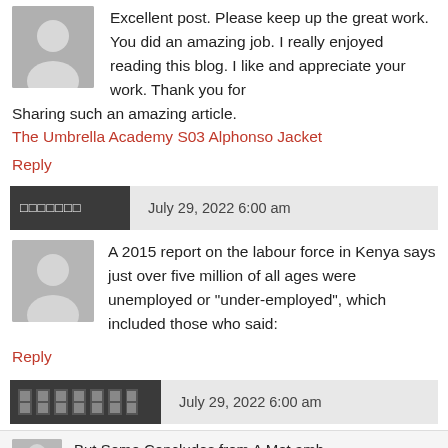Excellent post. Please keep up the great work. You did an amazing job. I really enjoyed reading this blog. I like and appreciate your work. Thank you for Sharing such an amazing article.
The Umbrella Academy S03 Alphonso Jacket
Reply
□□□□□□□   July 29, 2022 6:00 am
A 2015 report on the labour force in Kenya says just over five million of all ages were unemployed or "under-employed", which included those who said:
Reply
[username image]   July 29, 2022 6:00 am
But Some Concludes from A Met amb...